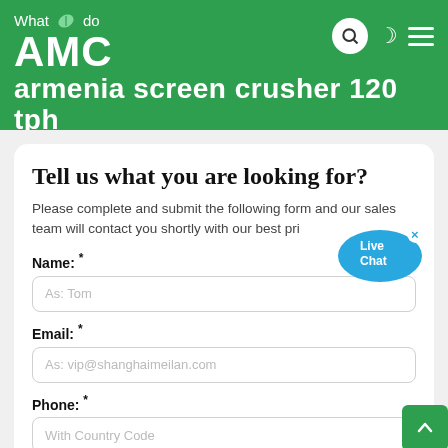What we do AMC armenia screen crusher 120 tph
Tell us what you are looking for?
Please complete and submit the following form and our sales team will contact you shortly with our best pri[ce]
Name: *
As: Tom
Email: *
As: vip@shanghaimeilan.com
Phone: *
With Country Code
The Location of the Project: